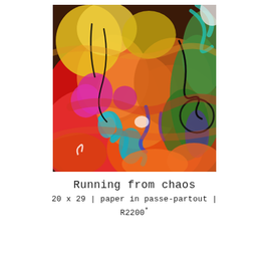[Figure (illustration): Abstract expressionist painting with vivid swirling colors including red, orange, yellow, green, teal, blue, purple, and white brushstrokes on paper, with black gestural lines overlaid.]
Running from chaos
20 x 29 | paper in passe-partout | R2200*